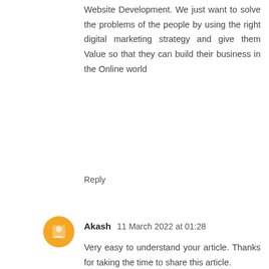Website Development. We just want to solve the problems of the people by using the right digital marketing strategy and give them Value so that they can build their business in the Online world
Reply
Akash  11 March 2022 at 01:28
Very easy to understand your article. Thanks for taking the time to share this article.
Free Ecommerce Platform in chennai
Ecommerce Platform For Small Business in chennai
Best Platform For Ecommerce Website in chennai
Reply